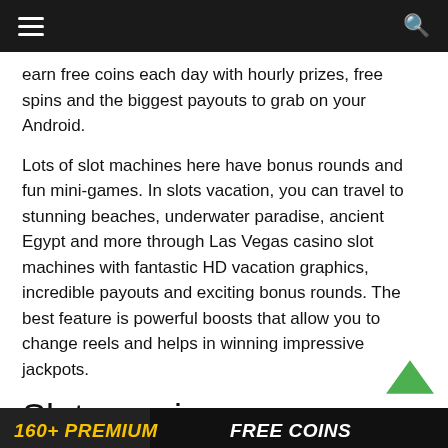≡  [navigation bar]  🔍
earn free coins each day with hourly prizes, free spins and the biggest payouts to grab on your Android.
Lots of slot machines here have bonus rounds and fun mini-games. In slots vacation, you can travel to stunning beaches, underwater paradise, ancient Egypt and more through Las Vegas casino slot machines with fantastic HD vacation graphics, incredible payouts and exciting bonus rounds. The best feature is powerful boosts that allow you to change reels and helps in winning impressive jackpots.
Slotomania
[Figure (screenshot): Banner strip at bottom showing '160+ PREMIUM' in yellow italic text and 'FREE COINS' in white italic text on dark background]